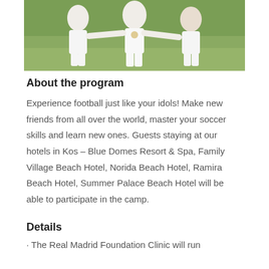[Figure (photo): Children in white soccer uniforms huddled together on a grass field, viewed from above]
About the program
Experience football just like your idols! Make new friends from all over the world, master your soccer skills and learn new ones. Guests staying at our hotels in Kos – Blue Domes Resort & Spa, Family Village Beach Hotel, Norida Beach Hotel, Ramira Beach Hotel, Summer Palace Beach Hotel will be able to participate in the camp.
Details
· The Real Madrid Foundation Clinic will run